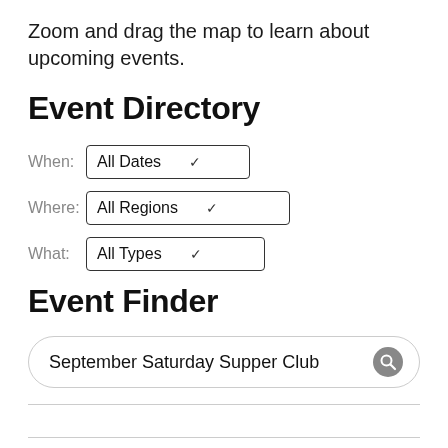Zoom and drag the map to learn about upcoming events.
Event Directory
When: All Dates
Where: All Regions
What: All Types
Event Finder
September Saturday Supper Club